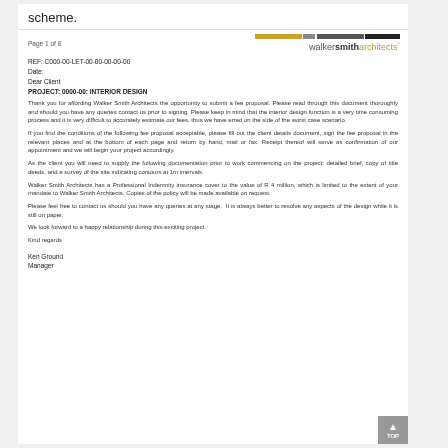scheme.
Page 1 of 8   walkersmitharchitects°
REF: C000-00-LET-00-00-00-00-00
Date:
Dear Client
PROJECT: 0000-00: INTERIOR DESIGN
Thank you for affording Walker Smith Architects the opportunity to submit a fee proposal. Please read through this document thoroughly and should you have any queries contact us prior to signing. Please keep in mind that the interior design function is a very time consuming process and it is very difficult to accurately estimate our fees, thus we have erred on the side of the worst case scenario.
If you find the conditions of the following fee proposal acceptable, please fill out the client details document, sign the fee proposal in the relevant places and at the bottom of each page and return by hand, mail or fax. Receipt thereof will serve as confirmation of our appointment and we will begin your project accordingly.
As the client you will need to supply the following documentation prior to work commencing on the project: detailed brief, copy of title deeds, and a survey of the site indicating contours at 1m intervals.
Walker Smith Architects has a Professional Indemnity insurance cover to the value of R 4 million, which is limited to the extent of your mandate to Walker Smith Architects. Copies of the policy will be made available on request.
Please feel free to contact us should you have any queries at any stage. It is always better to resolve any aspects of the design while it is still on paper.
We look forward to a happy relationship during this exciting project.
Kind regards
Ken Ground
Manager